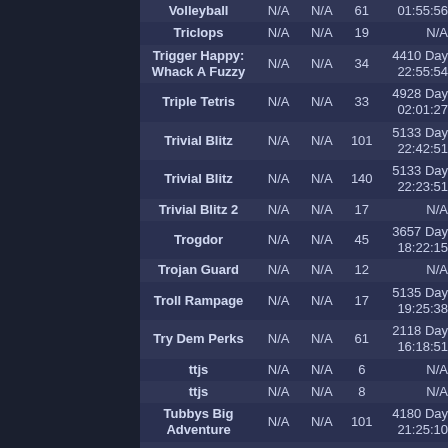| Game | Col2 | Col3 | Players | Time/Info |
| --- | --- | --- | --- | --- |
| Volleyball | N/A | N/A | 61 | 01:55:56 |
| Triclops | N/A | N/A | 19 | N/A |
| Trigger Happy: Whack A Fuzzy | N/A | N/A | 34 | 4410 Day 22:55:54 |
| Triple Tetris | N/A | N/A | 33 | 4928 Day 02:01:27 |
| Trivial Blitz | N/A | N/A | 101 | 5133 Day 22:42:51 |
| Trivial Blitz | N/A | N/A | 140 | 5133 Day 22:23:51 |
| Trivial Blitz 2 | N/A | N/A | 17 | N/A |
| Trogdor | N/A | N/A | 45 | 3657 Day 18:22:15 |
| Trojan Guard | N/A | N/A | 12 | N/A |
| Troll Rampage | N/A | N/A | 17 | 5135 Day 19:25:38 |
| Try Dem Perks | N/A | N/A | 61 | 2118 Day 16:18:51 |
| ttjs | N/A | N/A | 6 | N/A |
| ttjs | N/A | N/A | 8 | N/A |
| Tubbys Big Adventure | N/A | N/A | 101 | 4180 Day 21:25:10 |
| Tube Loader | N/A | N/A | 30 | N/A |
| Tube Race | N/A | N/A | 58 | 4702 Day 16:13:54 |
| Tubin | N/A | N/A | 58 | 5125 Day 02:33:01 |
| Tubin' on Lake Tyler | N/A | N/A | 34 | 5247 Day |